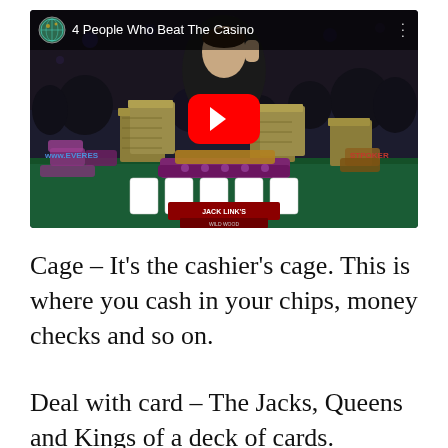[Figure (screenshot): YouTube video thumbnail showing a poker player celebrating with stacks of cash and poker chips on a casino table. Video title reads '4 People Who Beat The Casino'. A large red YouTube play button is centered on the image. The channel icon is a globe. Three-dot menu visible in top right.]
Cage – It's the cashier's cage. This is where you cash in your chips, money checks and so on.
Deal with card – The Jacks, Queens and Kings of a deck of cards.